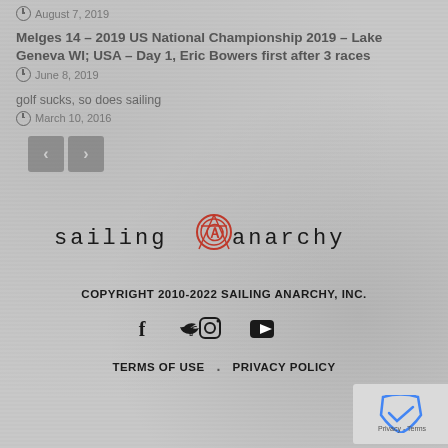August 7, 2019
Melges 14 – 2019 US National Championship 2019 – Lake Geneva WI; USA – Day 1, Eric Bowers first after 3 races
June 8, 2019
golf sucks, so does sailing
March 10, 2016
[Figure (logo): Sailing Anarchy logo with anarchy symbol in red]
COPYRIGHT 2010-2022 SAILING ANARCHY, INC.
[Figure (infographic): Social media icons: Facebook, Twitter, Instagram, YouTube]
TERMS OF USE . PRIVACY POLICY